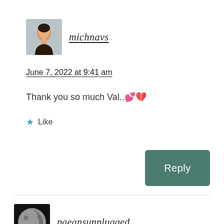[Figure (photo): Profile photo of user michnavs: a woman smiling, wearing a dark top, on a light grey background]
michnavs
June 7, 2022 at 9:41 am
Thank you so much Val..💕💔
★ Like
Reply
[Figure (photo): Profile photo of user paeansunplugged: a moon image on dark background]
paeansunplugged